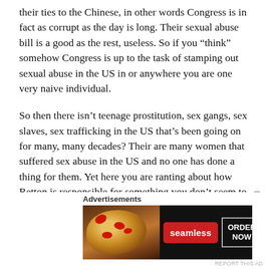their ties to the Chinese, in other words Congress is in fact as corrupt as the day is long. Their sexual abuse bill is a good as the rest, useless. So if you “think” somehow Congress is up to the task of stamping out sexual abuse in the US in or anywhere you are one very naive individual.
So then there isn’t teenage prostitution, sex gangs, sex slaves, sex trafficking in the US that’s been going on for many, many decades? Their are many women that suffered sex abuse in the US and no one has done a thing for them. Yet here you are ranting about how Retton is responsible for something you don’t seem to have a clue about, it’s not just about some celebrity athletes that are treated like Gods in this country.
[Figure (screenshot): Seamless food delivery advertisement banner with pizza image on the left, Seamless logo button in red center, and ORDER NOW button in white border on right, on dark background.]